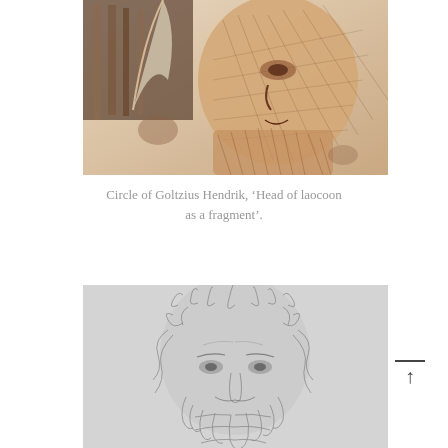[Figure (illustration): Engraving of a head in profile (Laocoon head), sepia-toned, showing detailed crosshatching technique, with engraving tools visible at left. Appears to be a fragment of a classical sculpture study.]
Circle of Goltzius Hendrik, 'Head of laocoon as a fragment'.
[Figure (illustration): Pencil or charcoal sketch of a bearded male head viewed frontally, showing curly hair and beard with expressive features, rendered in loose sketch style on gray paper.]